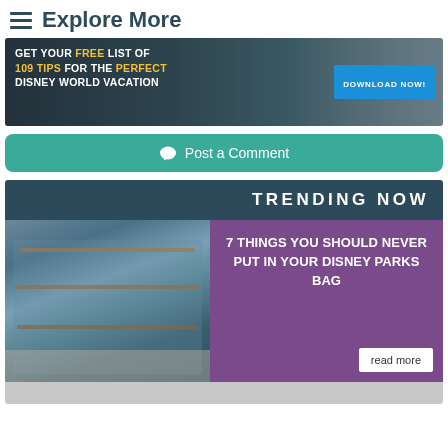☰ Explore More
[Figure (photo): Banner advertisement with Disney castle background: GET YOUR FREE LIST OF 109 TIPS FOR THE PERFECT DISNEY WORLD VACATION with DOWNLOAD NOW! button]
Post a Comment
TRENDING NOW
[Figure (photo): Disney Parks bag merchandise display with colorful backpacks on shelves]
7 THINGS YOU SHOULD NEVER PUT IN YOUR DISNEY PARKS BAG
read more